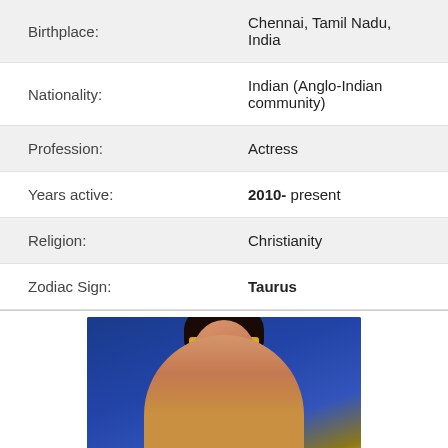| Field | Value |
| --- | --- |
| Birthplace: | Chennai, Tamil Nadu, India |
| Nationality: | Indian (Anglo-Indian community) |
| Profession: | Actress |
| Years active: | 2010- present |
| Religion: | Christianity |
| Zodiac Sign: | Taurus |
[Figure (photo): Portrait photo of an actress wearing a gold headband and traditional costume against a blue decorative background]